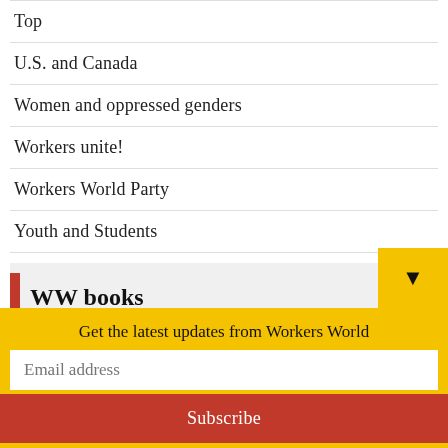Top
U.S. and Canada
Women and oppressed genders
Workers unite!
Workers World Party
Youth and Students
WW books
[Figure (illustration): Book cover: 'lavender & red' with red star/arrow design on purple background]
Get the latest updates from Workers World
Email address
Subscribe